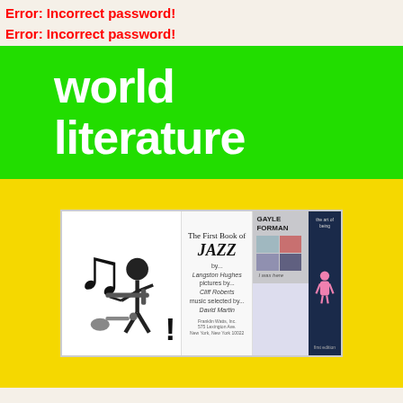Error: Incorrect password!
Error: Incorrect password!
world literature
[Figure (illustration): A collage of book covers including 'The First Book of Jazz' by Langston Hughes illustrated by Cliff Roberts music selected by David Martin, a Gayle Forman book cover 'I Was Here', and 'The Art of Being' book with dark blue cover and pink figure illustration.]
True Detectives cast